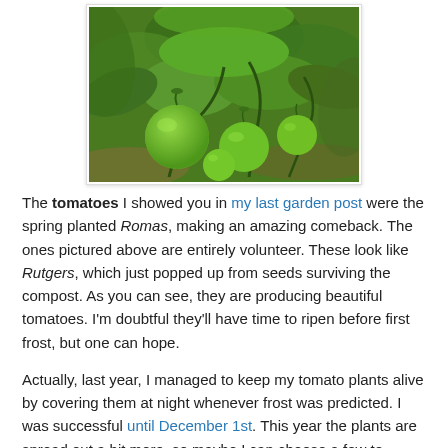[Figure (photo): Photo of green tomatoes growing on the vine with large leaves visible, garden soil in background]
The tomatoes I showed you in my last garden post were the spring planted Romas, making an amazing comeback. The ones pictured above are entirely volunteer. These look like Rutgers, which just popped up from seeds surviving the compost. As you can see, they are producing beautiful tomatoes. I'm doubtful they'll have time to ripen before first frost, but one can hope.
Actually, last year, I managed to keep my tomato plants alive by covering them at night whenever frost was predicted. I was successful until December 1st. This year the plants are spread out a bit more, so maybe I can choose a few to